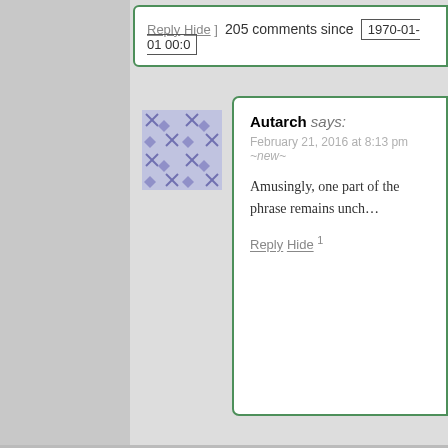Reply Hide ]   205 comments since   1970-01-01 00:0
Autarch says: February 21, 2016 at 8:13 pm ~new~ Amusingly, one part of the phrase remains unch... Reply Hide 1
Jack V says: February 21, 2016 at 2:21 pm ~new~ OK, I love this chapter too! Reply Hide
Rob K says: February 21, 2016 at 2:48 pm ~new~ For the significance of Boojum, there's a lot of ways you ca... way to summarize the hunting of the Snark would be that a...